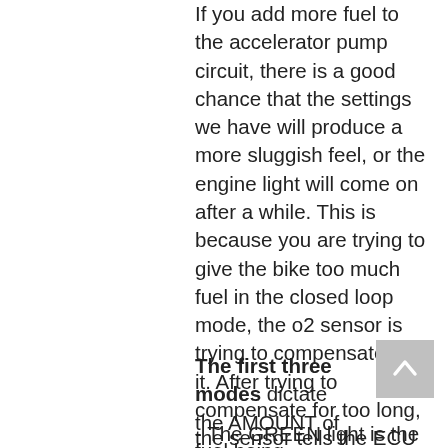If you add more fuel to the accelerator pump circuit, there is a good chance that the settings we have will produce a more sluggish feel, or the engine light will come on after a while. This is because you are trying to give the bike too much fuel in the closed loop mode, the o2 sensor is trying to compensate for it. After trying to compensate for too long, the sensor tells the ECU something is wrong and the engine light comes on. You would have to get an OBD2 scanner tool at this point to erase the code.
The first three modes dictate the AMOUNT of fuel being provided.
- The GREEN light is the amount of fuel when the accelerator pump